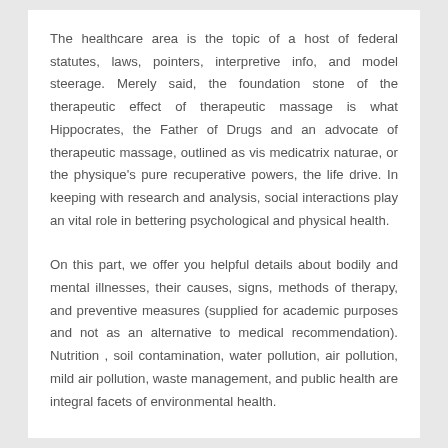The healthcare area is the topic of a host of federal statutes, laws, pointers, interpretive info, and model steerage. Merely said, the foundation stone of the therapeutic effect of therapeutic massage is what Hippocrates, the Father of Drugs and an advocate of therapeutic massage, outlined as vis medicatrix naturae, or the physique's pure recuperative powers, the life drive. In keeping with research and analysis, social interactions play an vital role in bettering psychological and physical health.
On this part, we offer you helpful details about bodily and mental illnesses, their causes, signs, methods of therapy, and preventive measures (supplied for academic purposes and not as an alternative to medical recommendation). Nutrition , soil contamination, water pollution, air pollution, mild air pollution, waste management, and public health are integral facets of environmental health.